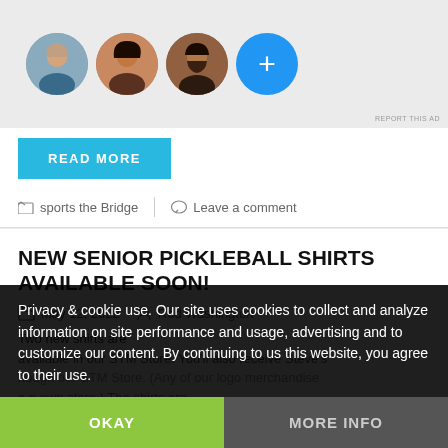[Figure (illustration): Ad area showing four circular avatar photos/icons in a row on a light gray background, with a blue circle plus button and 'REPORT THIS AD' text in bottom right.]
READ MORE
sports the Bridge   |   Leave a comment
NEW SENIOR PICKLEBALL SHIRTS AVAILABLE SOON!
May 12, 2022   Rod Washington
Two new shirts are available in our STM Store. You'll also receive Steve's ... through our STM Store. (Any of our logo merchandise ... own store.) The shirts are ... atshirts have the SPR word logo ...
Privacy & cookie use. Our site uses cookies to collect and analyze information on site performance and usage, advertising and to customize our content. By continuing to us this website, you agree to their use.
OKAY   MORE INFO